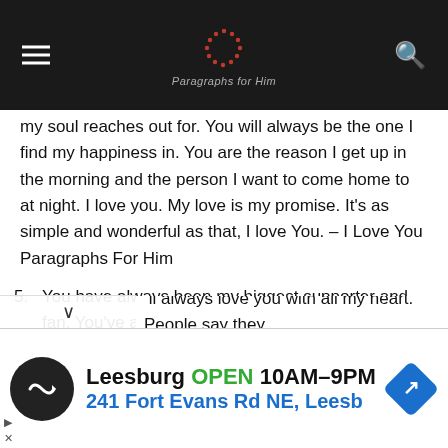Paragraphs For Him
my soul reaches out for. You will always be the one I find my happiness in. You are the reason I get up in the morning and the person I want to come home to at night. I love you. My love is my promise. It’s as simple and wonderful as that, I love You. – I Love You Paragraphs For Him
5. You have always been my biggest supporter and fan. You’ve always had my back and in your eyes, I can do nothing wrong which has built my confidence throughout my life. Thank you darling for loving me unconditionally and forever! You have made me the man I am today and I…ll always love you with all my heart. People say they
[Figure (infographic): Advertisement banner: Leesburg OPEN 10AM–9PM, 241 Fort Evans Rd NE, Leesb]